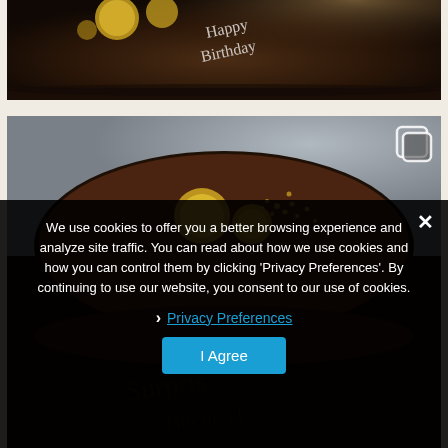[Figure (photo): Top portion of a chocolate birthday cake with gold decorations and white icing script reading 'Happy Birthday']
[Figure (photo): Second chocolate cake viewed from above with gold coin decorations, partially obscured by dark cookie consent overlay, with a copy/gallery icon in top right]
We use cookies to offer you a better browsing experience and analyze site traffic. You can read about how we use cookies and how you can control them by clicking 'Privacy Preferences'. By continuing to use our website, you consent to our use of cookies.
› Privacy Preferences
I Agree